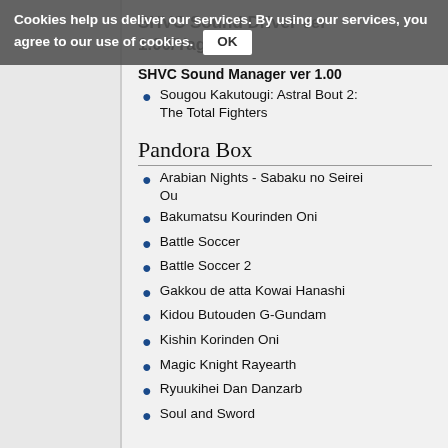Cookies help us deliver our services. By using our services, you agree to our use of cookies. OK
SHVC Sound Driver ver 1.00/Yagiee
SHVC Sound Manager ver 1.00
Sougou Kakutougi: Astral Bout 2: The Total Fighters
Pandora Box
Arabian Nights - Sabaku no Seirei Ou
Bakumatsu Kourinden Oni
Battle Soccer
Battle Soccer 2
Gakkou de atta Kowai Hanashi
Kidou Butouden G-Gundam
Kishin Korinden Oni
Magic Knight Rayearth
Ryuukihei Dan Danzarb
Soul and Sword